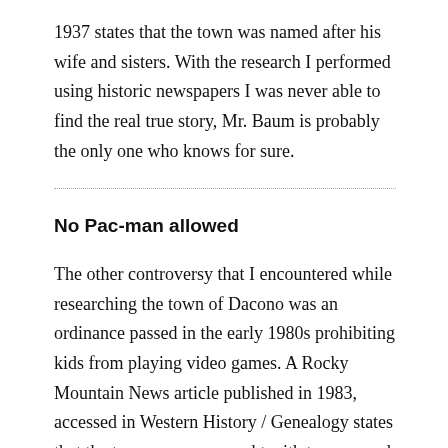1937 states that the town was named after his wife and sisters. With the research I performed using historic newspapers I was never able to find the real true story, Mr. Baum is probably the only one who knows for sure.
No Pac-man allowed
The other controversy that I encountered while researching the town of Dacono was an ordinance passed in the early 1980s prohibiting kids from playing video games. A Rocky Mountain News article published in 1983, accessed in Western History / Genealogy states that the town was so wrought with truancy and delinquency which was believed to be a result of